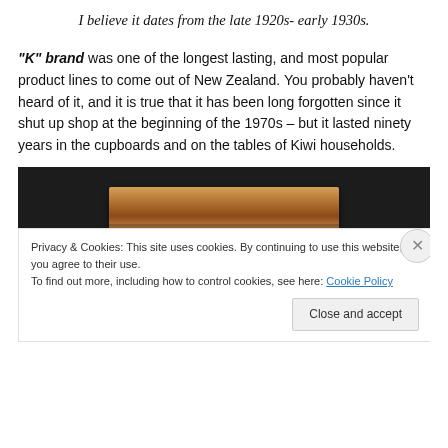I believe it dates from the late 1920s- early 1930s.
“K” brand was one of the longest lasting, and most popular product lines to come out of New Zealand. You probably haven’t heard of it, and it is true that it has been long forgotten since it shut up shop at the beginning of the 1970s – but it lasted ninety years in the cupboards and on the tables of Kiwi households.
[Figure (photo): A product in a dark-background photo, showing what appears to be a rectangular tin or box with a brown/gold label, partially visible. Below the photo is a cookie consent banner with a 'Close and accept' button.]